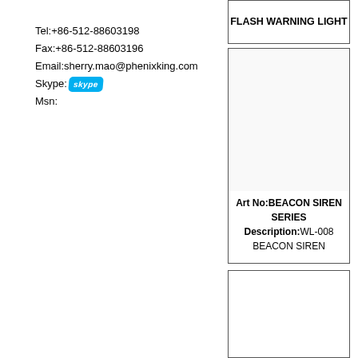FLASH WARNING LIGHT
Tel:+86-512-88603198
Fax:+86-512-88603196
Email:sherry.mao@phenixking.com
Skype: [skype logo]
Msn:
[Figure (other): Empty product image box for BEACON SIREN SERIES]
Art No:BEACON SIREN SERIES
Description:WL-008 BEACON SIREN
[Figure (other): Empty product image box at bottom]